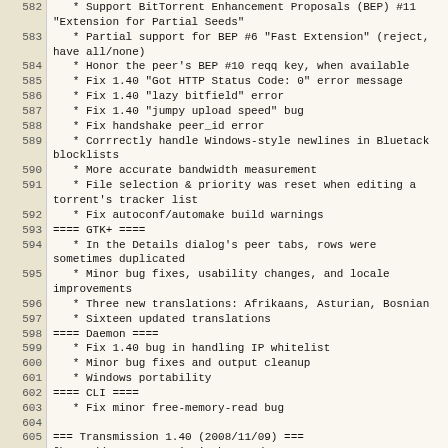| line | code |
| --- | --- |
| 582 |    * Support BitTorrent Enhancement Proposals (BEP) #11 "Extension for Partial Seeds" |
| 583 |    * Partial support for BEP #6 "Fast Extension" (reject, have all/none) |
| 584 |    * Honor the peer's BEP #10 reqq key, when available |
| 585 |    * Fix 1.40 "Got HTTP Status Code: 0" error message |
| 586 |    * Fix 1.40 "lazy bitfield" error |
| 587 |    * Fix 1.40 "jumpy upload speed" bug |
| 588 |    * Fix handshake peer_id error |
| 589 |    * Corrrectly handle Windows-style newlines in Bluetack blocklists |
| 590 |    * More accurate bandwidth measurement |
| 591 |    * File selection & priority was reset when editing a torrent's tracker list |
| 592 |    * Fix autoconf/automake build warnings |
| 593 | ==== GTK+ ==== |
| 594 |    * In the Details dialog's peer tabs, rows were sometimes duplicated |
| 595 |    * Minor bug fixes, usability changes, and locale improvements |
| 596 |    * Three new translations: Afrikaans, Asturian, Bosnian |
| 597 |    * Sixteen updated translations |
| 598 | ==== Daemon ==== |
| 599 |    * Fix 1.40 bug in handling IP whitelist |
| 600 |    * Minor bug fixes and output cleanup |
| 601 |    * Windows portability |
| 602 | ==== CLI ==== |
| 603 |    * Fix minor free-memory-read bug |
| 604 |  |
| 605 | === Transmission 1.40 (2008/11/09) === |
| 606 | [http://trac.transmissionbt.com/query?milestone=1.40&group=component&groupdesc=1&order=severity All tickets closed by this release] |
| 607 | ==== All Platforms ==== |